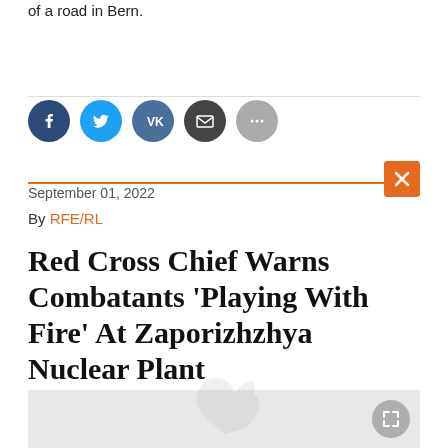of a road in Bern.
[Figure (other): Social media share buttons: Facebook, Twitter, VK, Email, More]
September 01, 2022
By RFE/RL
Red Cross Chief Warns Combatants 'Playing With Fire' At Zaporizhzhya Nuclear Plant
[Figure (photo): Article image placeholder with broken image icon and expand button, watermark bird logo visible]